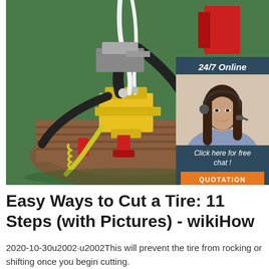[Figure (photo): Close-up photo of industrial tire cutting/servicing machinery with yellow metal components, red clamps, black hoses, white tubing, and a green floor visible. An advertisement overlay in the top-right shows '24/7 Online' with a woman wearing a headset, 'Click here for free chat!' text, and an orange 'QUOTATION' button.]
Easy Ways to Cut a Tire: 11 Steps (with Pictures) - wikiHow
2020-10-30u2002·u2002This will prevent the tire from rocking or shifting once you begin cutting.